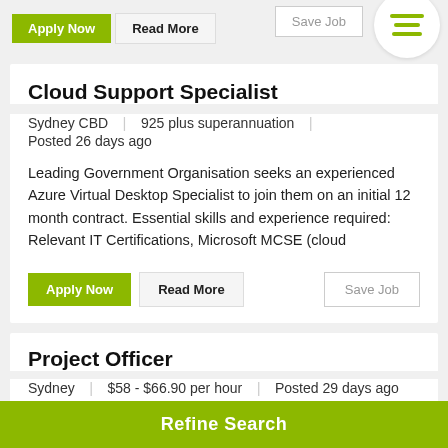Apply Now | Read More | Save Job
Cloud Support Specialist
Sydney CBD | 925 plus superannuation | Posted 26 days ago
Leading Government Organisation seeks an experienced Azure Virtual Desktop Specialist to join them on an initial 12 month contract. Essential skills and experience required: Relevant IT Certifications, Microsoft MCSE (cloud
Apply Now | Read More | Save Job
Project Officer
Sydney | $58 - $66.90 per hour | Posted 29 days ago
Description:  Our client a leading NSW Government
Refine Search